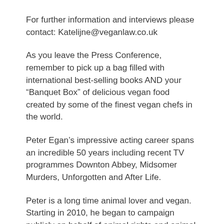For further information and interviews please contact: Katelijne@veganlaw.co.uk
As you leave the Press Conference, remember to pick up a bag filled with international best-selling books AND your “Banquet Box” of delicious vegan food created by some of the finest vegan chefs in the world.
Peter Egan’s impressive acting career spans an incredible 50 years including recent TV programmes Downton Abbey, Midsomer Murders, Unforgotten and After Life.
Peter is a long time animal lover and vegan. Starting in 2010, he began to campaign publicly on behalf of animal rights and animal welfare.
In January 2016, Egan participated in Veganuary and has remained vegan.